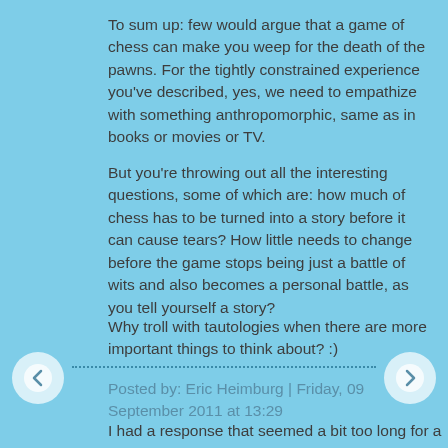To sum up: few would argue that a game of chess can make you weep for the death of the pawns. For the tightly constrained experience you've described, yes, we need to empathize with something anthropomorphic, same as in books or movies or TV.
But you're throwing out all the interesting questions, some of which are: how much of chess has to be turned into a story before it can cause tears? How little needs to change before the game stops being just a battle of wits and also becomes a personal battle, as you tell yourself a story?
Why troll with tautologies when there are more important things to think about? :)
Posted by: Eric Heimburg | Friday, 09 September 2011 at 13:29
I had a response that seemed a bit too long for a